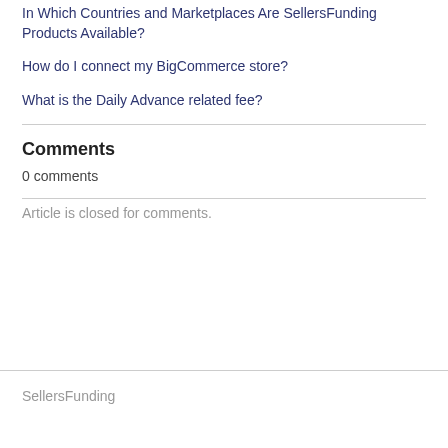In Which Countries and Marketplaces Are SellersFunding Products Available?
How do I connect my BigCommerce store?
What is the Daily Advance related fee?
Comments
0 comments
Article is closed for comments.
SellersFunding